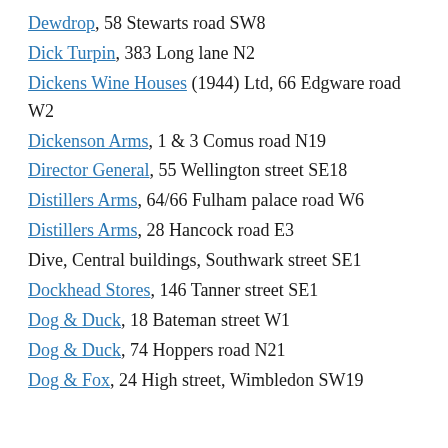Dewdrop, 58 Stewarts road SW8
Dick Turpin, 383 Long lane N2
Dickens Wine Houses (1944) Ltd, 66 Edgware road W2
Dickenson Arms, 1 & 3 Comus road N19
Director General, 55 Wellington street SE18
Distillers Arms, 64/66 Fulham palace road W6
Distillers Arms, 28 Hancock road E3
Dive, Central buildings, Southwark street SE1
Dockhead Stores, 146 Tanner street SE1
Dog & Duck, 18 Bateman street W1
Dog & Duck, 74 Hoppers road N21
Dog & Fox, 24 High street, Wimbledon SW19